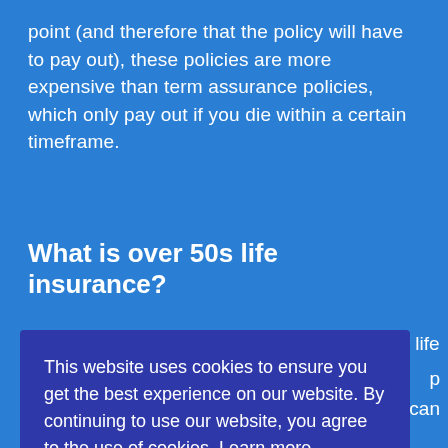point (and therefore that the policy will have to pay out), these policies are more expensive than term assurance policies, which only pay out if you die within a certain timeframe.
What is over 50s life insurance?
Over 50 life insurance is an affordable type of life
This website uses cookies to ensure you get the best experience on our website. By continuing to use our website, you agree to the use of cookies  Learn more
p
can
Fixed monthly premium